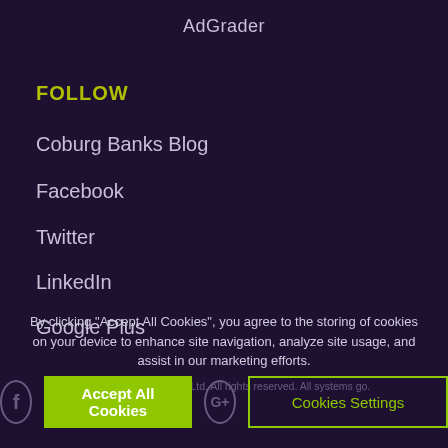AdGrader
FOLLOW
Coburg Banks Blog
Facebook
Twitter
LinkedIn
Google Plus
By clicking "Accept All Cookies", you agree to the storing of cookies on your device to enhance site navigation, analyze site usage, and assist in our marketing efforts.
© 2017 - Coburg Banks Ltd. All rights reserved. All systems go.
Accept All Cookies
Cookies Settings